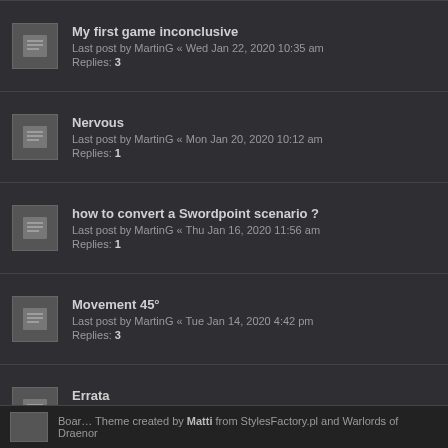My first game inconclusive
Last post by MartinG « Wed Jan 22, 2020 10:35 am
Replies: 3
Nervous
Last post by MartinG « Mon Jan 20, 2020 10:12 am
Replies: 1
how to convert a Swordpoint scenario ?
Last post by MartinG « Thu Jan 16, 2020 11:56 am
Replies: 1
Movement 45°
Last post by MartinG « Tue Jan 14, 2020 4:42 pm
Replies: 3
Errata
Last post by MartinG « Thu Dec 19, 2019 11:38 am
Replies: 1
Jump to
WHO IS ONLINE
Users browsing this forum: No registered users and 2 guests
Boar… Theme created by Matti from StylesFactory.pl and Warlords of Draenor